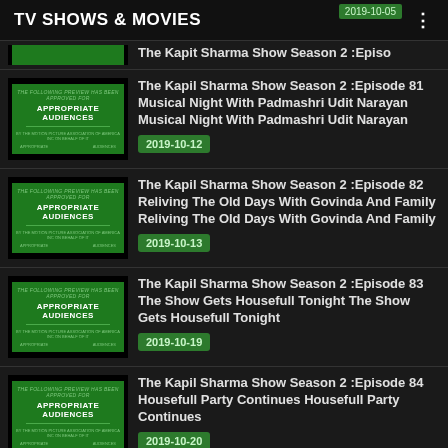TV SHOWS & MOVIES
The Kapil Sharma Show Season 2 :Episode 81 Musical Night With Padmashri Udit Narayan Musical Night With Padmashri Udit Narayan — 2019-10-12
The Kapil Sharma Show Season 2 :Episode 82 Reliving The Old Days With Govinda And Family Reliving The Old Days With Govinda And Family — 2019-10-13
The Kapil Sharma Show Season 2 :Episode 83 The Show Gets Housefull Tonight The Show Gets Housefull Tonight — 2019-10-19
The Kapil Sharma Show Season 2 :Episode 84 Housefull Party Continues Housefull Party Continues — 2019-10-20